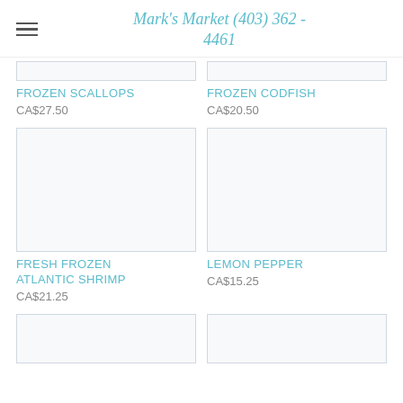Mark's Market (403) 362 - 4461
FROZEN SCALLOPS
CA$27.50
FROZEN CODFISH
CA$20.50
[Figure (photo): Product image placeholder for Fresh Frozen Atlantic Shrimp]
[Figure (photo): Product image placeholder for Lemon Pepper]
FRESH FROZEN ATLANTIC SHRIMP
CA$21.25
LEMON PEPPER
CA$15.25
[Figure (photo): Product image placeholder (bottom left)]
[Figure (photo): Product image placeholder (bottom right)]